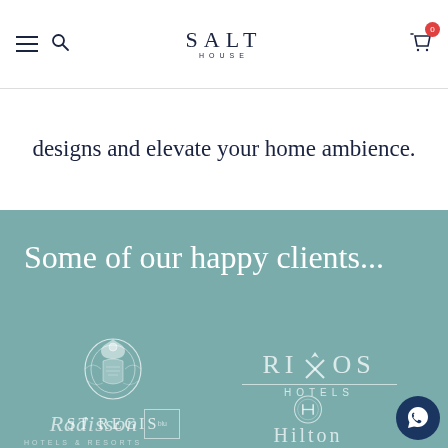SALT HOUSE — navigation header with logo, menu, search, and cart
designs and elevate your home ambience.
Some of our happy clients...
[Figure (logo): St Regis hotel logo — ornate crest above text ST REGIS]
[Figure (logo): Rixos Hotels logo — stylized text with crossed X above HOTELS]
[Figure (logo): Radisson Hotels & Resorts logo with blu badge]
[Figure (logo): Hilton hotel logo — circular H emblem above HILTON text]